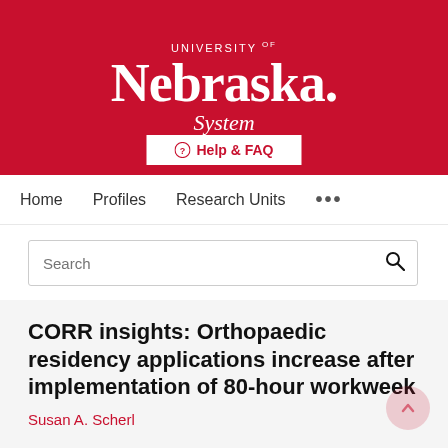[Figure (logo): University of Nebraska System logo — white text on red background, serif font for 'Nebraska', italic 'System' below]
Help & FAQ
Home   Profiles   Research Units   ...
Search
CORR insights: Orthopaedic residency applications increase after implementation of 80-hour workweek
Susan A. Scherl